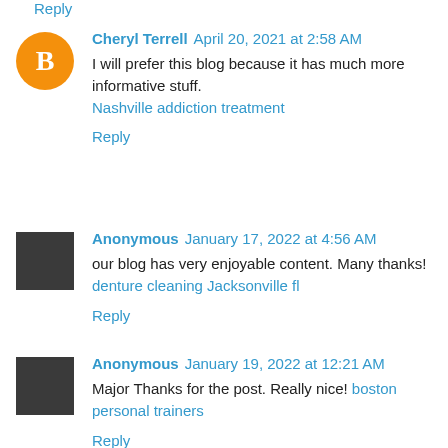Reply
Cheryl Terrell  April 20, 2021 at 2:58 AM
I will prefer this blog because it has much more informative stuff.
Nashville addiction treatment
Reply
Anonymous  January 17, 2022 at 4:56 AM
our blog has very enjoyable content. Many thanks! denture cleaning Jacksonville fl
Reply
Anonymous  January 19, 2022 at 12:21 AM
Major Thanks for the post. Really nice! boston personal trainers
Reply